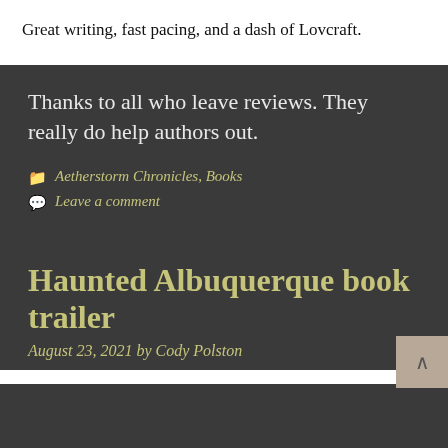Great writing, fast pacing, and a dash of Lovcraft.
Thanks to all who leave reviews. They really do help authors out.
Aetherstorm Chronicles, Books
Leave a comment
Haunted Albuquerque book trailer
August 23, 2021 by Cody Polston